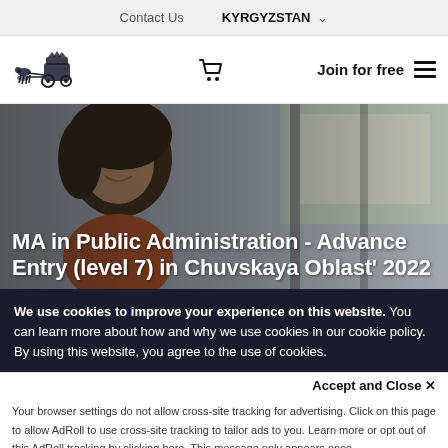Contact Us   KYRGYZSTAN
[Figure (logo): Carriage with horses logo (dark illustration)]
Join for free
[Figure (photo): Young woman smiling, sitting in a car near a window]
MA in Public Administration - Advance Entry (level 7) in Chuvskaya Oblast' 2022
We use cookies to improve your experience on this website. You can learn more about how and why we use cookies in our cookie policy. By using this website, you agree to the use of cookies.
Accept and Close ×
Your browser settings do not allow cross-site tracking for advertising. Click on this page to allow AdRoll to use cross-site tracking to tailor ads to you. Learn more or opt out of this AdRoll tracking by clicking here. This message only appears once.